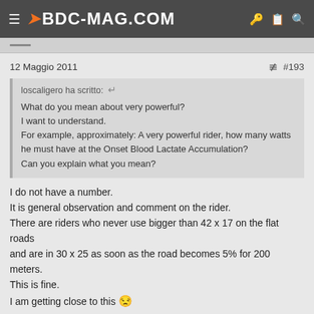BDC-MAG.COM
12 Maggio 2011  #193
loscaligero ha scritto:
What do you mean about very powerful?
I want to understand.
For example, approximately: A very powerful rider, how many watts he must have at the Onset Blood Lactate Accumulation?
Can you explain what you mean?
I do not have a number.
It is general observation and comment on the rider.
There are riders who never use bigger than 42 x 17 on the flat roads and are in 30 x 25 as soon as the road becomes 5% for 200 meters.
This is fine.
I am getting close to this 😑

Some riders can thump 53 x 15 at 90 rpm = 40kmp + on the flat